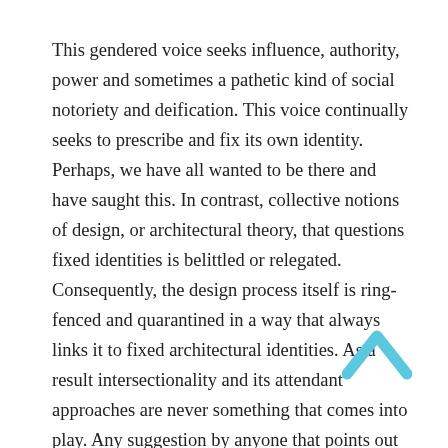This gendered voice seeks influence, authority, power and sometimes a pathetic kind of social notoriety and deification. This voice continually seeks to prescribe and fix its own identity. Perhaps, we have all wanted to be there and have saught this. In contrast, collective notions of design, or architectural theory, that questions fixed identities is belittled or relegated. Consequently, the design process itself is ring-fenced and quarantined in a way that always links it to fixed architectural identities. As a result intersectionality and its attendant approaches are never something that comes into play. Any suggestion by anyone that points out the jargon, mystifications, influence, and deification that result in this seriousness is overlooked and at worse silenced.
The paradox is that architectural whimsy, a